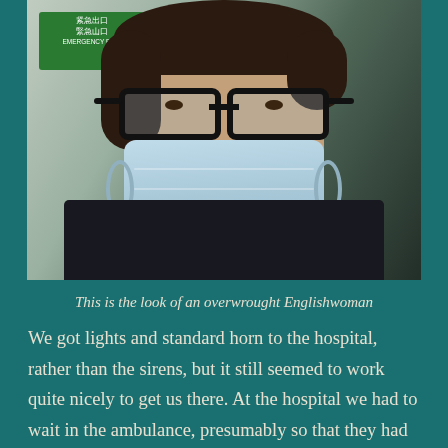[Figure (photo): A woman wearing black-rimmed glasses and a light blue surgical/medical face mask, taking a selfie. In the background on the upper left is a green Chinese exit sign. She is wearing a dark shirt. The photo has a teal/green-tinted background.]
This is the look of an overwrought Englishwoman
We got lights and standard horn to the hospital, rather than the sirens, but it still seemed to work quite nicely to get us there. At the hospital we had to wait in the ambulance, presumably so that they had time to prepare our rooms and a crowd full on gathered while we waited. Some of them even had their phones out. I actually wondered if this was what it was like to be a